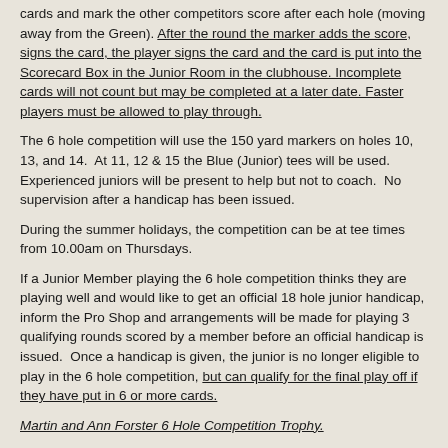cards and mark the other competitors score after each hole (moving away from the Green). After the round the marker adds the score, signs the card, the player signs the card and the card is put into the Scorecard Box in the Junior Room in the clubhouse. Incomplete cards will not count but may be completed at a later date. Faster players must be allowed to play through.
The 6 hole competition will use the 150 yard markers on holes 10, 13, and 14.  At 11, 12 & 15 the Blue (Junior) tees will be used.  Experienced juniors will be present to help but not to coach.  No supervision after a handicap has been issued.
During the summer holidays, the competition can be at tee times from 10.00am on Thursdays.
If a Junior Member playing the 6 hole competition thinks they are playing well and would like to get an official 18 hole junior handicap, inform the Pro Shop and arrangements will be made for playing 3 qualifying rounds scored by a member before an official handicap is issued.  Once a handicap is given, the junior is no longer eligible to play in the 6 hole competition, but can qualify for the final play off if they have put in 6 or more cards.
Martin and Ann Forster 6 Hole Competition Trophy.